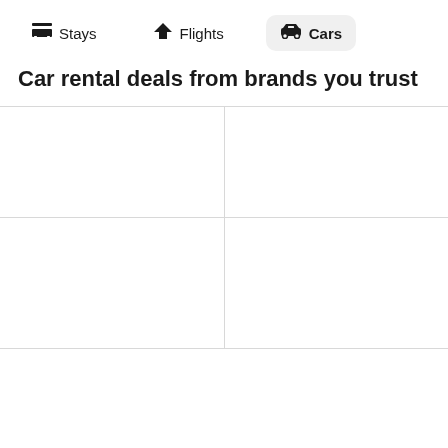Stays  Flights  Cars
Car rental deals from brands you trust
[Figure (other): 2x2 empty grid with light gray dividing lines, representing placeholder content areas for car rental brand logos or deals]